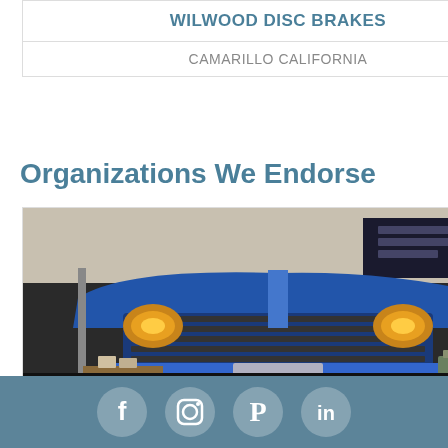| WILWOOD DISC BRAKES |
| CAMARILLO CALIFORNIA |
Organizations We Endorse
[Figure (photo): Photo of a classic muscle car front end with blue paint and yellow headlights, shown at what appears to be an automotive show or market event, with signage visible in the background.]
| AUTOMOTIVE RESTORATION MARKET |
| DIAMOND BAR CA |
[Figure (infographic): Footer bar with social media icons: Facebook, Instagram, Pinterest, LinkedIn]